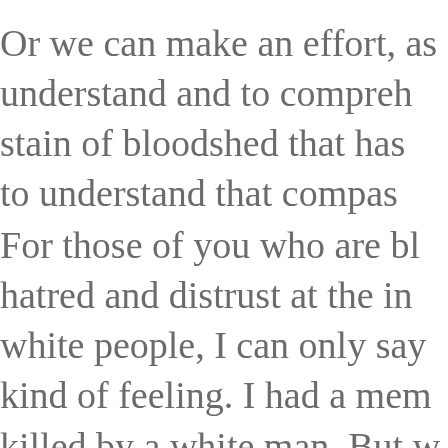Or we can make an effort, as understand and to compreh stain of bloodshed that has to understand that compas
For those of you who are bl hatred and distrust at the in white people, I can only say kind of feeling. I had a mem killed by a white man. But w States, we have to make an these rather difficult times.
My favorite poet was Aesch which cannot forget falls dr own despair, against our wi